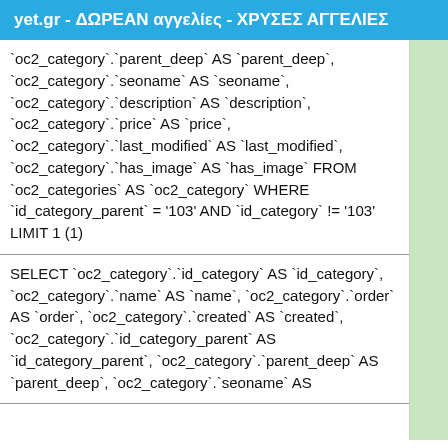yet.gr - ΔΩΡΕΑΝ αγγελίες - ΧΡΥΣΕΣ ΑΓΓΕΛΙΕΣ
`oc2_category`.`parent_deep` AS `parent_deep`, `oc2_category`.`seoname` AS `seoname`, `oc2_category`.`description` AS `description`, `oc2_category`.`price` AS `price`, `oc2_category`.`last_modified` AS `last_modified`, `oc2_category`.`has_image` AS `has_image` FROM `oc2_categories` AS `oc2_category` WHERE `id_category_parent` = '103' AND `id_category` != '103' LIMIT 1 (1)
SELECT `oc2_category`.`id_category` AS `id_category`, `oc2_category`.`name` AS `name`, `oc2_category`.`order` AS `order`, `oc2_category`.`created` AS `created`, `oc2_category`.`id_category_parent` AS `id_category_parent`, `oc2_category`.`parent_deep` AS `parent_deep`, `oc2_category`.`seoname` AS